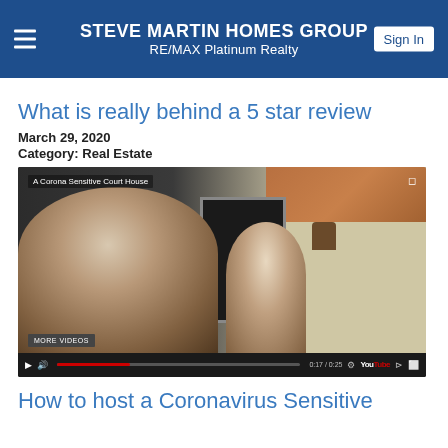STEVE MARTIN HOMES GROUP
RE/MAX Platinum Realty
What is really behind a 5 star review
March 29, 2020
Category: Real Estate
[Figure (screenshot): YouTube video thumbnail showing two people outside a house. Overlay text reads 'A Corona Sensitive Court House'. Video controls visible at bottom with YouTube logo. Progress bar shown in red. 'MORE VIDEOS' button visible.]
How to host a Coronavirus Sensitive